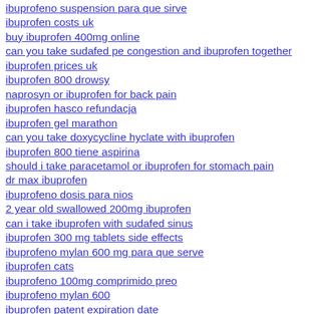ibuprofeno suspension para que sirve
ibuprofen costs uk
buy ibuprofen 400mg online
can you take sudafed pe congestion and ibuprofen together
ibuprofen prices uk
ibuprofen 800 drowsy
naprosyn or ibuprofen for back pain
ibuprofen hasco refundacja
ibuprofen gel marathon
can you take doxycycline hyclate with ibuprofen
ibuprofen 800 tiene aspirina
should i take paracetamol or ibuprofen for stomach pain
dr max ibuprofen
ibuprofeno dosis para nios
2 year old swallowed 200mg ibuprofen
can i take ibuprofen with sudafed sinus
ibuprofen 300 mg tablets side effects
ibuprofeno mylan 600 mg para que serve
ibuprofen cats
ibuprofeno 100mg comprimido preo
ibuprofeno mylan 600
ibuprofen patent expiration date
ibuprofeno 200 mg/5ml dosis
ibuprofeno 600 stick precio
ibuprofen before running race